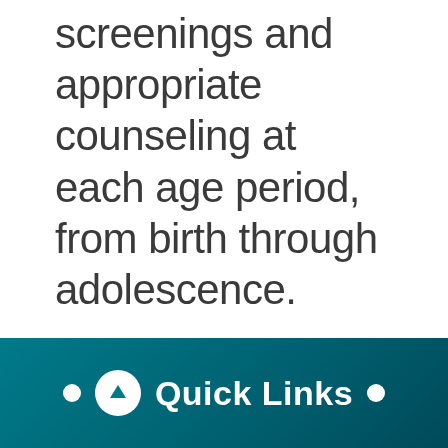screenings and appropriate counseling at each age period, from birth through adolescence.
Quick Links